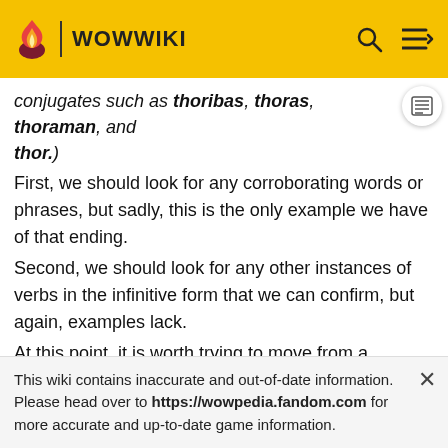WOWWIKI
conjugates such as thoribas, thoras, thoraman, and thor.)
First, we should look for any corroborating words or phrases, but sadly, this is the only example we have of that ending.
Second, we should look for any other instances of verbs in the infinitive form that we can confirm, but again, examples lack.
At this point, it is worth trying to move from a descriptive grammar (deriving a rule from observed cases) to a proscriptive grammar (creating a rule and then applying it
This wiki contains inaccurate and out-of-date information. Please head over to https://wowpedia.fandom.com for more accurate and up-to-date game information.